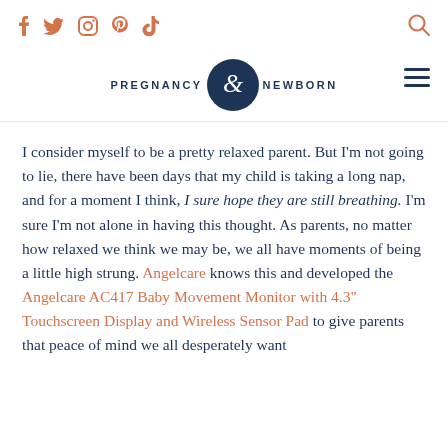Social icons: f, twitter, instagram, pinterest, tiktok | Pregnancy & Newborn logo | search icon | hamburger menu
I consider myself to be a pretty relaxed parent. But I’m not going to lie, there have been days that my child is taking a long nap, and for a moment I think, I sure hope they are still breathing. I’m sure I’m not alone in having this thought. As parents, no matter how relaxed we think we may be, we all have moments of being a little high strung. Angelcare knows this and developed the Angelcare AC417 Baby Movement Monitor with 4.3” Touchscreen Display and Wireless Sensor Pad to give parents that peace of mind we all desperately want